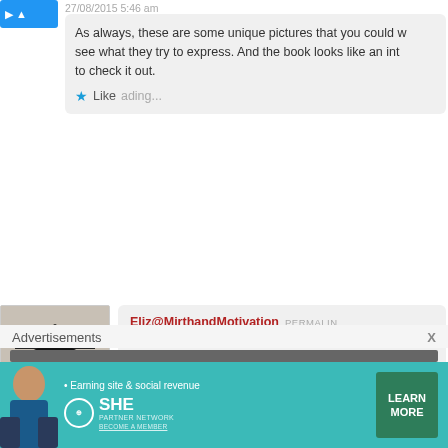[Figure (screenshot): Blue avatar image (partial, cropped at top)]
27/08/2015 5:46 am
As always, these are some unique pictures that you could w... see what they try to express. And the book looks like an int... to check it out.
⭐ Like Loading...
[Figure (photo): Red Japanese temple gate]
Eliz@MirthandMotivation PERMALINK 27/08/2015 9:34 pm
I think you will find it insightful Lisa.
⭐ Like Loading...
[Figure (screenshot): Blue avatar bar (partial, third comment)]
Advertisements
[Figure (infographic): SHE Partner Network advertisement banner - Earning site & social revenue, LEARN MORE button]